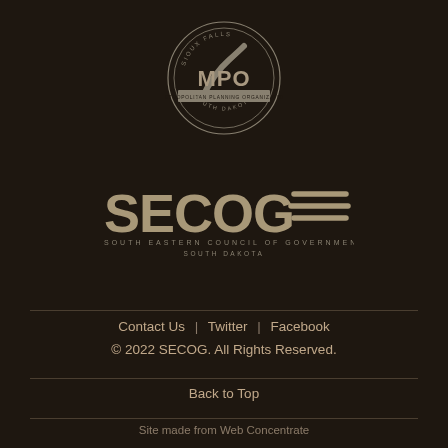[Figure (logo): Sioux Falls MPO Metropolitan Planning Organization South Dakota circular logo in dark background with grey/silver tones]
[Figure (logo): SECOG South Eastern Council of Governments South Dakota logo with wave/water design element, large bold text on dark background]
Contact Us | Twitter | Facebook
© 2022 SECOG. All Rights Reserved.
Back to Top
Site made from Web Concentrate